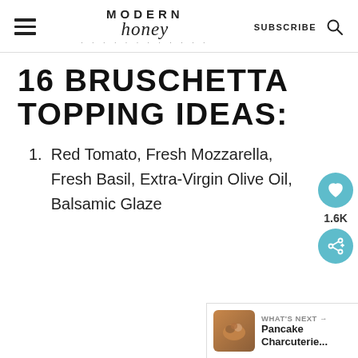Modern Honey — SUBSCRIBE
16 BRUSCHETTA TOPPING IDEAS:
1. Red Tomato, Fresh Mozzarella, Fresh Basil, Extra-Virgin Olive Oil, Balsamic Glaze
1.6K
WHAT'S NEXT → Pancake Charcuterie...